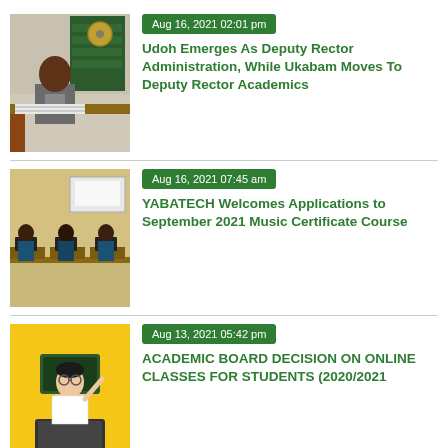[Figure (photo): Man in suit sitting at desk writing, with a fan and shelves in background]
Aug 16, 2021 02:01 pm
Udoh Emerges As Deputy Rector Administration, While Ukabam Moves To Deputy Rector Academics
[Figure (photo): Students sitting at computers in a computer lab classroom viewed from behind]
Aug 16, 2021 07:45 am
YABATECH Welcomes Applications to September 2021 Music Certificate Course
[Figure (illustration): Cartoon illustration of a teacher with glasses pointing at a blackboard that reads 'Online Education' with a laptop in front, on a yellow background]
Aug 13, 2021 05:42 pm
ACADEMIC BOARD DECISION ON ONLINE CLASSES FOR STUDENTS (2020/2021